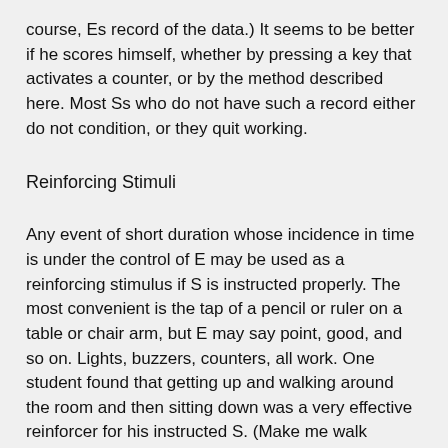course, Es record of the data.) It seems to be better if he scores himself, whether by pressing a key that activates a counter, or by the method described here. Most Ss who do not have such a record either do not condition, or they quit working.
Reinforcing Stimuli
Any event of short duration whose incidence in time is under the control of E may be used as a reinforcing stimulus if S is instructed properly. The most convenient is the tap of a pencil or ruler on a table or chair arm, but E may say point, good, and so on. Lights, buzzers, counters, all work. One student found that getting up and walking around the room and then sitting down was a very effective reinforcer for his instructed S. (Make me walk around the room.)